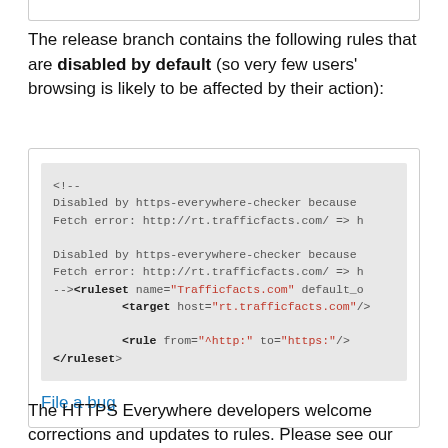The release branch contains the following rules that are disabled by default (so very few users' browsing is likely to be affected by their action):
[Figure (screenshot): Code block showing XML ruleset for Trafficfacts.com with comments indicating it was disabled by https-everywhere-checker due to fetch error, followed by a 'File a bug' link]
The HTTPS Everywhere developers welcome corrections and updates to rules. Please see our